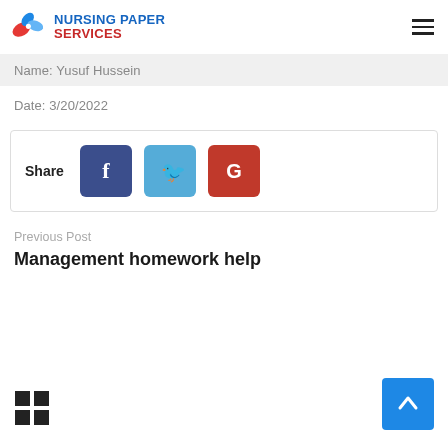[Figure (logo): Nursing Paper Services logo with colorful butterfly/leaf icon and blue/red text]
Name: Yusuf Hussein
Date: 3/20/2022
[Figure (infographic): Share bar with Facebook, Twitter, and Google+ buttons]
Previous Post
Management homework help
[Figure (other): Four-square grid icon]
[Figure (other): Scroll-to-top blue button with upward arrow]